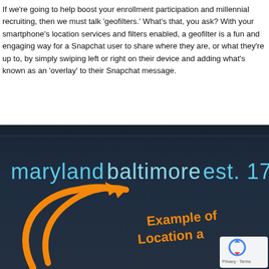If we're going to help boost your enrollment participation and millennial recruiting, then we must talk 'geofilters.' What's that, you ask? With your smartphone's location services and filters enabled, a geofilter is a fun and engaging way for a Snapchat user to share where they are, or what they're up to, by simply swiping left or right on their device and adding what's known as an 'overlay' to their Snapchat message.
[Figure (screenshot): Screenshot of a Snapchat geofilter showing 'maryland baltimore est. 1729' text in light blue against a dark navy background, with an orange arrow pointing up-right and partially visible orange text reading 'Example of a Location a...' with a Google reCAPTCHA badge in the bottom-right corner.]